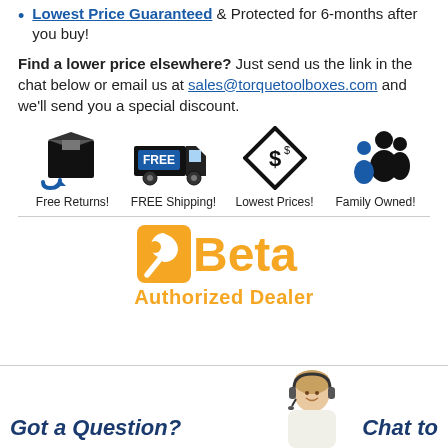Lowest Price Guaranteed & Protected for 6-months after you buy!
Find a lower price elsewhere? Just send us the link in the chat below or email us at sales@torquetoolboxes.com and we'll send you a special discount.
[Figure (infographic): Four icons in a row: Free Returns (box with arrow), FREE Shipping (delivery truck), Lowest Prices (price tag with dollar sign), Family Owned (people silhouettes)]
[Figure (logo): Beta Tools Authorized Dealer logo with orange wrench icon and orange text]
Got a Question?  Chat to
[Figure (photo): Customer service agent photo - woman with headset]